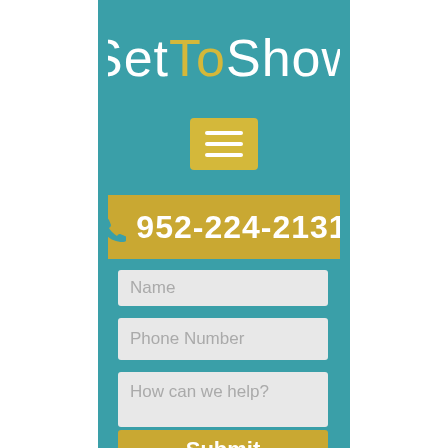[Figure (screenshot): SetToShow website mobile screenshot showing teal header with logo, hamburger menu, phone banner with 952-224-2131, and contact form fields including Phone Number, How can we help textarea, and Submit button.]
SetToShow
952-224-2131
Phone Number
How can we help?
Submit